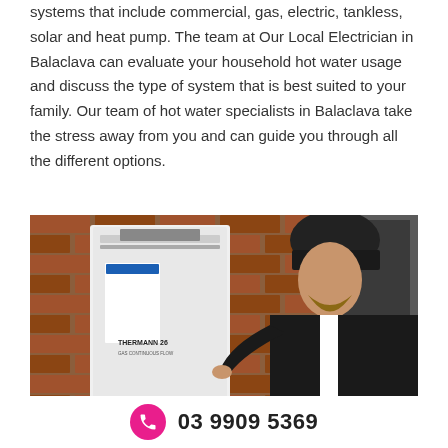systems that include commercial, gas, electric, tankless, solar and heat pump. The team at Our Local Electrician in Balaclava can evaluate your household hot water usage and discuss the type of system that is best suited to your family. Our team of hot water specialists in Balaclava take the stress away from you and can guide you through all the different options.
[Figure (photo): A technician wearing a black beanie and dark uniform works on a Thermann 26 gas continuous flow hot water unit mounted on a brick wall outside a building.]
03 9909 5369